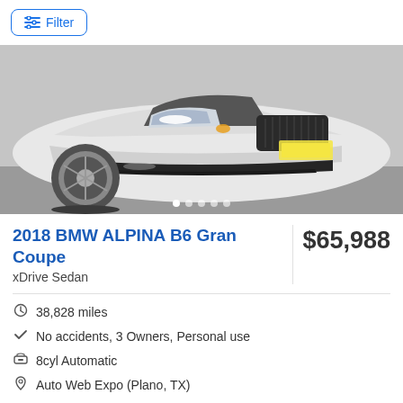Filter
[Figure (photo): Front view of a white 2018 BMW ALPINA B6 Gran Coupe in a showroom, showing headlights and front grille.]
2018 BMW ALPINA B6 Gran Coupe
$65,988
xDrive Sedan
38,828 miles
No accidents, 3 Owners, Personal use
8cyl Automatic
Auto Web Expo (Plano, TX)
AWD/4WD  Back-up camera  Bluetooth  Heated seats